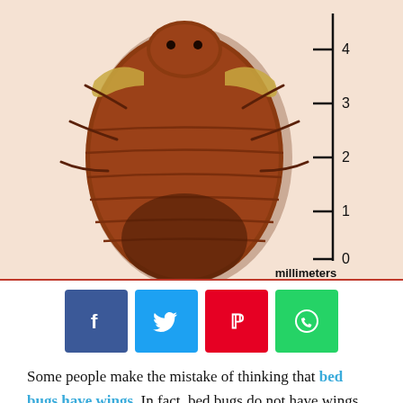[Figure (photo): Close-up photo of a bed bug (Cimex lectularius) on a peach/cream background, viewed from above, showing its reddish-brown oval body with segmented abdomen and small wing pads. A millimeter ruler on the right side shows markings from 0 to 4 millimeters, with the label 'millimeters' at the bottom.]
[Figure (infographic): Four social media share buttons in a row: Facebook (dark blue, 'f'), Twitter (light blue, bird icon), Pinterest (red, 'P'), WhatsApp (green, phone icon).]
Some people make the mistake of thinking that bed bugs have wings. In fact, bed bugs do not have wings, but their bodies have wing pads. As such, they can move very quickly on surfaces and furniture, and can even settle on electrical